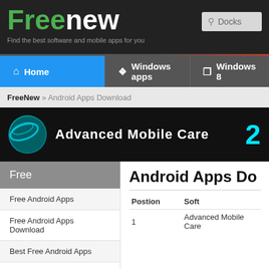FreeNew — Find the best software and mobile apps for you
Home | Windows apps | Windows 8
FreeNew » Android Apps Download
[Figure (screenshot): Advanced Mobile Care banner ad with circular icon and number 2]
Free
Free Android Apps
Free Android Apps Download
Best Free Android Apps
Best Free Android Apps
Android Apps Do
| Postion | Soft |
| --- | --- |
| 1 | Advanced Mobile Care |